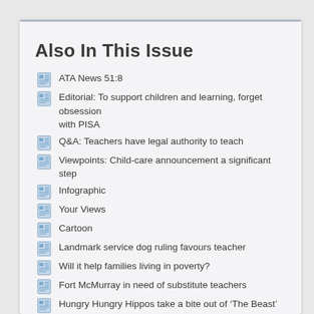Also In This Issue
ATA News 51:8
Editorial: To support children and learning, forget obsession with PISA
Q&A: Teachers have legal authority to teach
Viewpoints: Child-care announcement a significant step
Infographic
Your Views
Cartoon
Landmark service dog ruling favours teacher
Will it help families living in poverty?
Fort McMurray in need of substitute teachers
Hungry Hungry Hippos take a bite out of ‘The Beast’
Meet the PC leadership candidates
Effective leaders focus, expert says
School leaders encouraged to share their experiences
Executive Report: